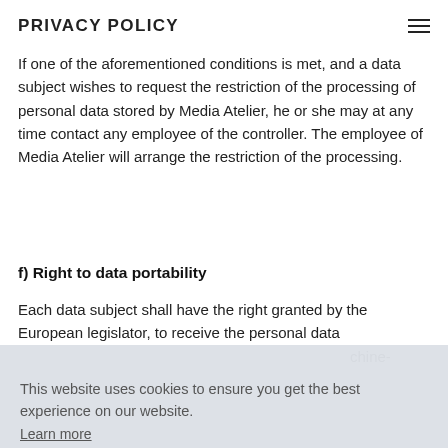override those of the data subject.
PRIVACY POLICY
If one of the aforementioned conditions is met, and a data subject wishes to request the restriction of the processing of personal data stored by Media Atelier, he or she may at any time contact any employee of the controller. The employee of Media Atelier will arrange the restriction of the processing.
f) Right to data portability
Each data subject shall have the right granted by the European legislator, to receive the personal data ...chine- ...al data based ...he ...on a contract pursuant to point (b) of Article 6(1) of the GDPR, and the processing is carried out by automated
This website uses cookies to ensure you get the best experience on our website. Learn more Got it!